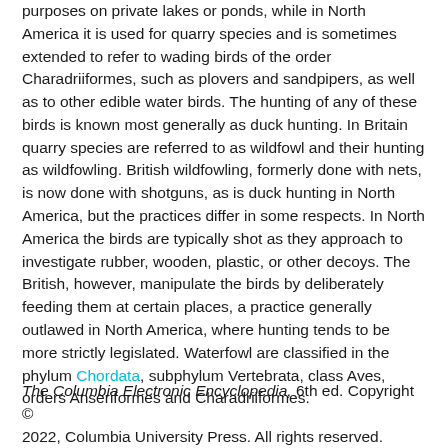purposes on private lakes or ponds, while in North America it is used for quarry species and is sometimes extended to refer to wading birds of the order Charadriiformes, such as plovers and sandpipers, as well as to other edible water birds. The hunting of any of these birds is known most generally as duck hunting. In Britain quarry species are referred to as wildfowl and their hunting as wildfowling. British wildfowling, formerly done with nets, is now done with shotguns, as is duck hunting in North America, but the practices differ in some respects. In North America the birds are typically shot as they approach to investigate rubber, wooden, plastic, or other decoys. The British, however, manipulate the birds by deliberately feeding them at certain places, a practice generally outlawed in North America, where hunting tends to be more strictly legislated. Waterfowl are classified in the phylum Chordata, subphylum Vertebrata, class Aves, orders Anseriformes and Charadriiformes.
The Columbia Electronic Encyclopedia, 6th ed. Copyright © 2022, Columbia University Press. All rights reserved.